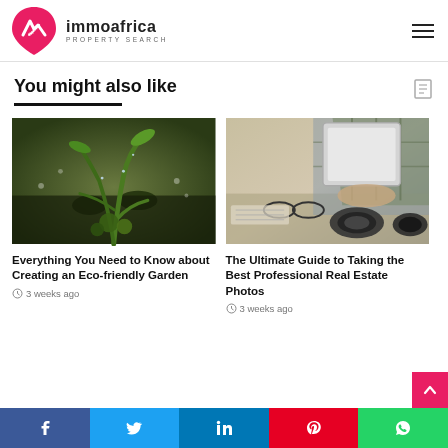[Figure (logo): ImmoAfrica property search logo — pink shield with white M/arrow icon, bold dark text 'immoafrica' and subtitle 'PROPERTY SEARCH']
You might also like
[Figure (photo): Close-up photo of green cactus/succulent plant with water droplets on dark background with small white flowers]
Everything You Need to Know about Creating an Eco-friendly Garden
3 weeks ago
[Figure (photo): Person in plaid shirt holding a tablet, with camera lenses and glasses on desk in foreground]
The Ultimate Guide to Taking the Best Professional Real Estate Photos
3 weeks ago